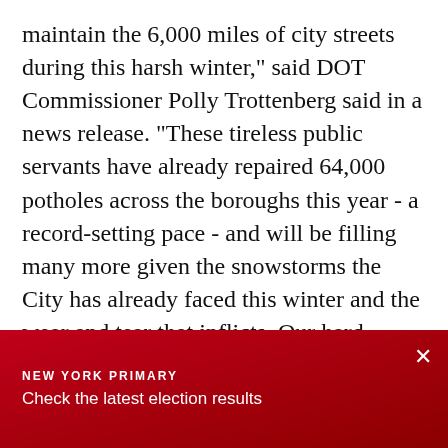maintain the 6,000 miles of city streets during this harsh winter," said DOT Commissioner Polly Trottenberg said in a news release. "These tireless public servants have already repaired 64,000 potholes across the boroughs this year - a record-setting pace - and will be filling many more given the snowstorms the City has already faced this winter and the wear and tear that inflicts. Our hard-working crews will be on the job throughout the city every day."
Beginning Monday, up to four specialized crews will also undertake repairs on several roads - including
NEW YORK PRIMARY
Check the latest election results